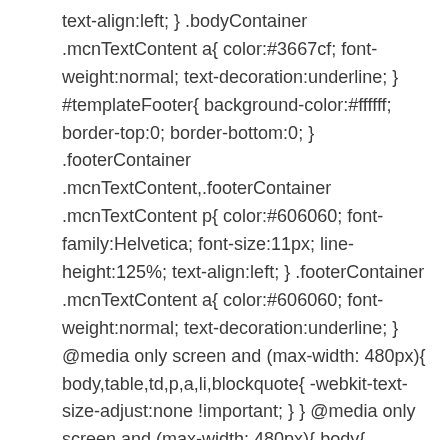text-align:left; } .bodyContainer .mcnTextContent a{ color:#3667cf; font-weight:normal; text-decoration:underline; } #templateFooter{ background-color:#ffffff; border-top:0; border-bottom:0; } .footerContainer .mcnTextContent,.footerContainer .mcnTextContent p{ color:#606060; font-family:Helvetica; font-size:11px; line-height:125%; text-align:left; } .footerContainer .mcnTextContent a{ color:#606060; font-weight:normal; text-decoration:underline; } @media only screen and (max-width: 480px){ body,table,td,p,a,li,blockquote{ -webkit-text-size-adjust:none !important; } } @media only screen and (max-width: 480px){ body{ width:100% !important; min-width:100% !important; } } @media only screen and (max-width: 480px){ td[id=bodyCell]{ padding:10px !important; } } @media only screen and (max-width: 480px){ table[class=mcnTextContentContainer]{